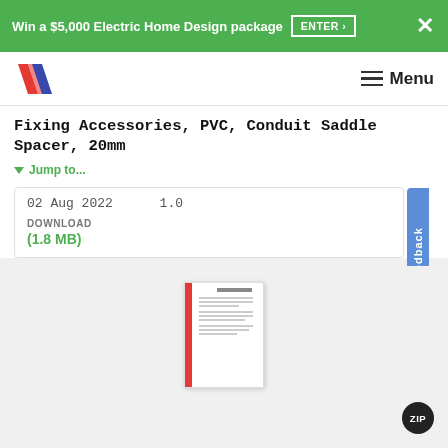Win a $5,000 Electric Home Design package  ENTER ›  ✕
[Figure (logo): Stylized red and blue double-bar logo]
≡  Menu
Fixing Accessories, PVC, Conduit Saddle Spacer, 20mm
▼ Jump to...
02 Aug 2022    1.0
DOWNLOAD
(1.8 MB)
[Figure (screenshot): Thumbnail preview of a document with red left bar and lines of text]
ZIP